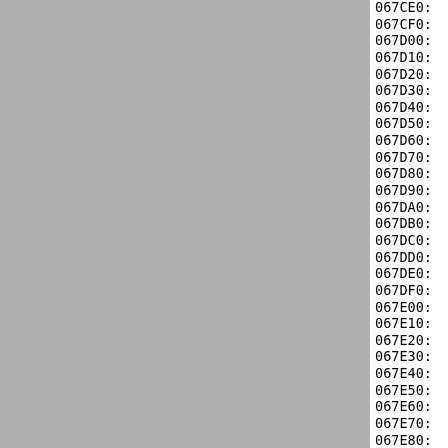[Figure (screenshot): Gray panel on the left side of the page]
067CE0:  FF FF FF FF FF FF FF FF FF
067CF0:  FF FF FF FF FF FF FF FF FF
067D00:  FF FF FF FF FF FF FF FF FF
067D10:  FF FF FF FF FF FF FF FF FF
067D20:  FF FF FF FF FF FF FF FF FF
067D30:  FF FF FF FF FF FF FF FF FF
067D40:  FF FF FF FF FF FF FF FF FF
067D50:  FF FF FF FF FF FF FF FF FF
067D60:  FF FF FF FF FF FF FF FF FF
067D70:  FF FF FF FF FF FF FF FF FF
067D80:  FF FF FF FF FF FF FF FF FF
067D90:  FF FF FF FF FF FF FF FF FF
067DA0:  FF FF FF FF FF FF FF FF FF
067DB0:  FF FF FF FF FF FF FF FF FF
067DC0:  FF FF FF FF FF FF FF FF FF
067DD0:  FF FF FF FF FF FF FF FF FF
067DE0:  FF FF FF FF FF FF FF FF FF
067DF0:  FF FF FF FF FF FF FF FF FF
067E00:  FF FF FF FF FF FF FF FF FF
067E10:  FF FF FF FF FF FF FF FF FF
067E20:  FF FF FF FF FF FF FF FF FF
067E30:  FF FF FF FF FF FF FF FF FF
067E40:  FF FF FF FF FF FF FF FF FF
067E50:  FF FF FF FF FF FF FF FF FF
067E60:  FF FF FF FF FF FF FF FF FF
067E70:  FF FF FF FF FF FF FF FF FF
067E80:  FF FF FF FF FF FF FF FF FF
067E90:  FF FF FF FF FF FF FF FF FF
067EA0:  FF FF FF FF FF FF FF FF FF
067EB0:  FF FF FF FF FF FF FF FF FF
067EC0:  FF FF FF FF FF FF FF FF FF